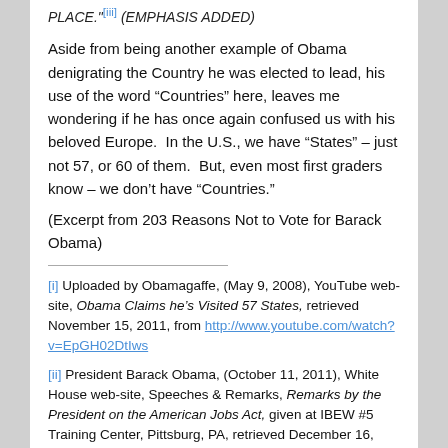PLACE."[iii] (EMPHASIS ADDED)
Aside from being another example of Obama denigrating the Country he was elected to lead, his use of the word “Countries” here, leaves me wondering if he has once again confused us with his beloved Europe.  In the U.S., we have “States” – just not 57, or 60 of them.  But, even most first graders know – we don’t have “Countries.”
(Excerpt from 203 Reasons Not to Vote for Barack Obama)
[i] Uploaded by Obamagaffe, (May 9, 2008), YouTube web-site, Obama Claims he’s Visited 57 States, retrieved November 15, 2011, from http://www.youtube.com/watch?v=EpGH02DtIws
[ii] President Barack Obama, (October 11, 2011), White House web-site, Speeches & Remarks, Remarks by the President on the American Jobs Act, given at IBEW #5 Training Center, Pittsburg, PA, retrieved December 16,